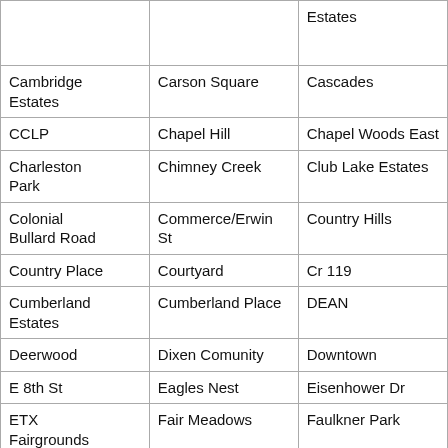|  |  | Estates |
| Cambridge Estates | Carson Square | Cascades |
| CCLP | Chapel Hill | Chapel Woods East |
| Charleston Park | Chimney Creek | Club Lake Estates |
| Colonial Bullard Road | Commerce/Erwin St | Country Hills |
| Country Place | Courtyard | Cr 119 |
| Cumberland Estates | Cumberland Place | DEAN |
| Deerwood | Dixen Comunity | Downtown |
| E 8th St | Eagles Nest | Eisenhower Dr |
| ETX Fairgrounds | Fair Meadows | Faulkner Park |
| Gassoway Park | Glenwood | Golden |